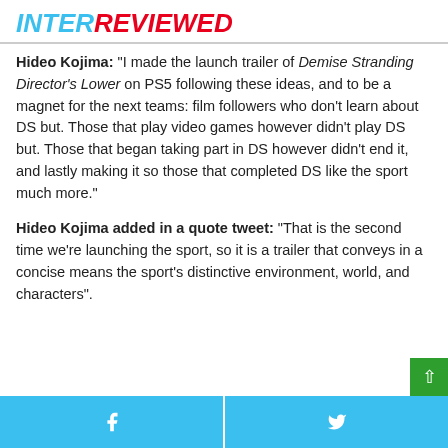INTERREVIEWED
Hideo Kojima: "I made the launch trailer of Demise Stranding Director's Lower on PS5 following these ideas, and to be a magnet for the next teams: film followers who don't learn about DS but. Those that play video games however didn't play DS but. Those that began taking part in DS however didn't end it, and lastly making it so those that completed DS like the sport much more."
Hideo Kojima added in a quote tweet: "That is the second time we're launching the sport, so it is a trailer that conveys in a concise means the sport's distinctive environment, world, and characters".
Facebook share | Twitter share